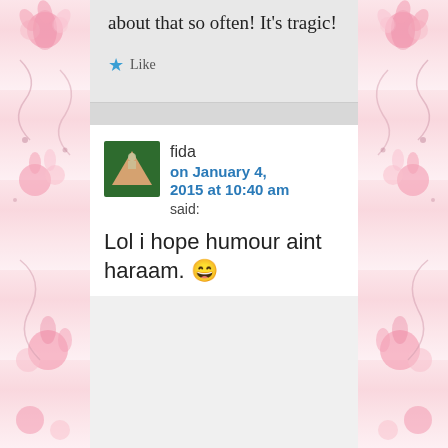about that so often! It’s tragic!
★ Like
fida on January 4, 2015 at 10:40 am said:
Lol i hope humour aint haraam. 😄